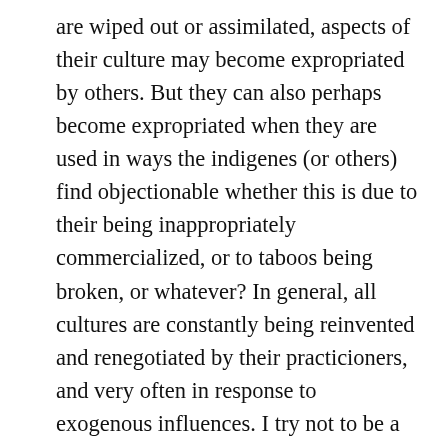are wiped out or assimilated, aspects of their culture may become expropriated by others. But they can also perhaps become expropriated when they are used in ways the indigenes (or others) find objectionable whether this is due to their being inappropriately commercialized, or to taboos being broken, or whatever? In general, all cultures are constantly being reinvented and renegotiated by their practicioners, and very often in response to exogenous influences. I try not to be a cultural essentialist. But I think we need to be very aware of the power relations that are at stake when cultural practices are appropriated from other cultures to make sure this is not a power-abusing or otherwise disempowering